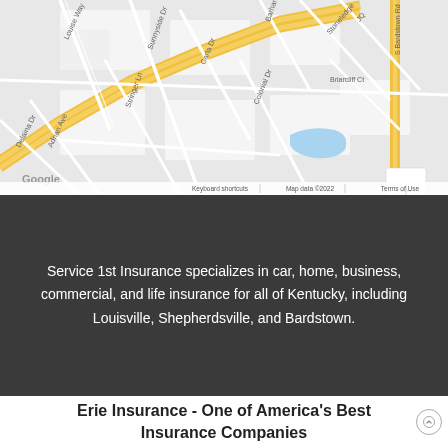[Figure (map): Google Maps street map showing Bardstown area of Kentucky with streets including Louise Way, Sunnyside Dr, Carla Dr, Stringer Ln, Colonial Dr, Briarcliff Ct, Stoneledge, Adrian Ave, Delaina Dr, S Bardstown Rd. Map includes zoom controls (+/-) and Google logo. Footer reads: Keyboard shortcuts | Map data ©2022 | Terms of Use]
Service 1st Insurance specializes in car, home, business, commercial, and life insurance for all of Kentucky, including Louisville, Shepherdsville, and Bardstown.
Erie Insurance - One of America's Best Insurance Companies